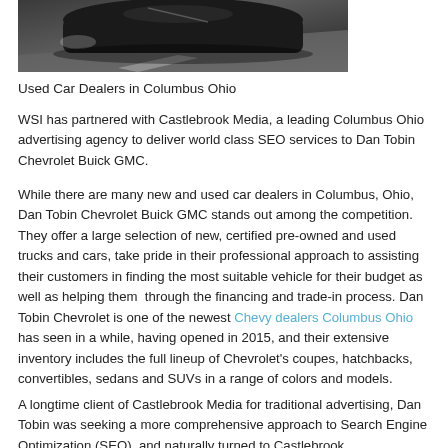[Figure (photo): Partial view of a dark car on a road, cropped at the top of the page]
Used Car Dealers in Columbus Ohio
WSI has partnered with Castlebrook Media, a leading Columbus Ohio advertising agency to deliver world class SEO services to Dan Tobin Chevrolet Buick GMC.
While there are many new and used car dealers in Columbus, Ohio, Dan Tobin Chevrolet Buick GMC stands out among the competition.  They offer a large selection of new, certified pre-owned and used trucks and cars, take pride in their professional approach to assisting their customers in finding the most suitable vehicle for their budget as well as helping them  through the financing and trade-in process. Dan Tobin Chevrolet is one of the newest Chevy dealers Columbus Ohio has seen in a while, having opened in 2015, and their extensive inventory includes the full lineup of Chevrolet's coupes, hatchbacks, convertibles, sedans and SUVs in a range of colors and models.
A longtime client of Castlebrook Media for traditional advertising, Dan Tobin was seeking a more comprehensive approach to Search Engine Optimization (SEO), and naturally turned to Castlebrook